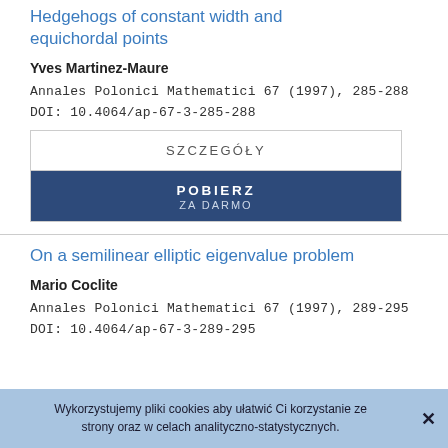Hedgehogs of constant width and equichordal points
Yves Martinez-Maure
Annales Polonici Mathematici 67 (1997), 285-288
DOI: 10.4064/ap-67-3-285-288
SZCZEGÓŁY
POBIERZ ZA DARMO
On a semilinear elliptic eigenvalue problem
Mario Coclite
Annales Polonici Mathematici 67 (1997), 289-295
DOI: 10.4064/ap-67-3-289-295
Wykorzystujemy pliki cookies aby ułatwić Ci korzystanie ze strony oraz w celach analityczno-statystycznych.